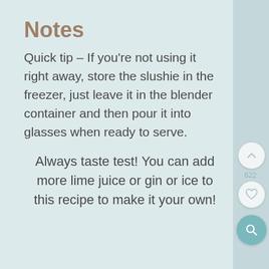Notes
Quick tip – If you're not using it right away, store the slushie in the freezer, just leave it in the blender container and then pour it into glasses when ready to serve.
Always taste test! You can add more lime juice or gin or ice to this recipe to make it your own!
[Figure (screenshot): UI navigation buttons: up arrow button, heart/like button with count 622, and teal search/magnify button on right sidebar]